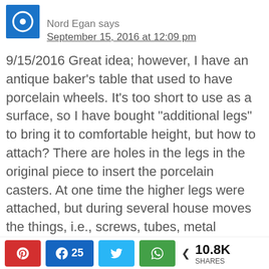Nord Egan says
September 15, 2016 at 12:09 pm
9/15/2016 Great idea; however, I have an antique baker’s table that used to have porcelain wheels. It’s too short to use as a surface, so I have bought “additional legs” to bring it to comfortable height, but how to attach? There are holes in the legs in the original piece to insert the porcelain casters. At one time the higher legs were attached, but during several house moves the things, i.e., screws, tubes, metal attaching things were lost. What do I need from the hardware store to attach besides
10.8K SHARES